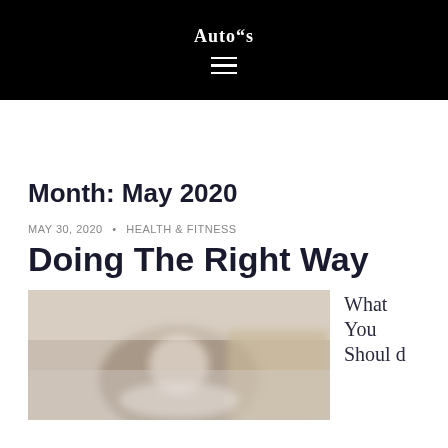Auto"s
Month: May 2020
MAY 30, 2020 • HEALTH & FITNESS
Doing The Right Way
[Figure (photo): Blurred photo of a person sitting cross-legged, appearing to be in a relaxed or meditative pose indoors]
What You Should